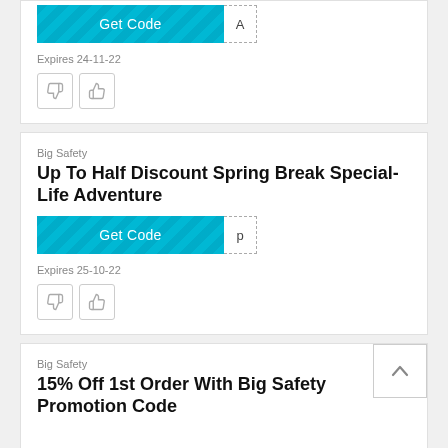[Figure (other): Get Code button with striped teal background and dashed code reveal box showing letter A]
Expires 24-11-22
[Figure (other): Thumbs down and thumbs up vote buttons]
Big Safety
Up To Half Discount Spring Break Special-Life Adventure
[Figure (other): Get Code button with striped teal background and dashed code reveal box showing letter p]
Expires 25-10-22
[Figure (other): Thumbs down and thumbs up vote buttons]
Big Safety
15% Off 1st Order With Big Safety Promotion Code